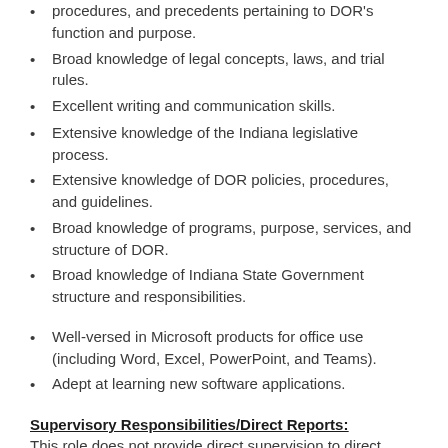procedures, and precedents pertaining to DOR's function and purpose.
Broad knowledge of legal concepts, laws, and trial rules.
Excellent writing and communication skills.
Extensive knowledge of the Indiana legislative process.
Extensive knowledge of DOR policies, procedures, and guidelines.
Broad knowledge of programs, purpose, services, and structure of DOR.
Broad knowledge of Indiana State Government structure and responsibilities.
Well-versed in Microsoft products for office use (including Word, Excel, PowerPoint, and Teams).
Adept at learning new software applications.
Supervisory Responsibilities/Direct Reports:
This role does not provide direct supervision to direct reports.
Benefits of Employment with the State of Indiana:
The State of Indiana offers a comprehensive benefits package.